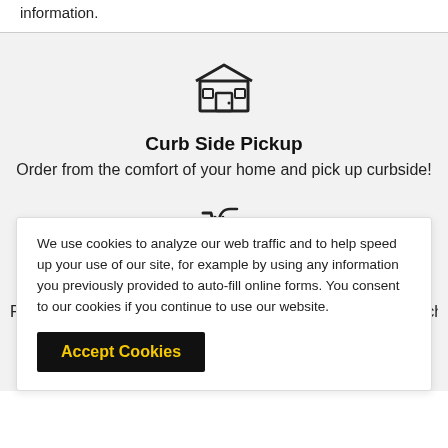information.
[Figure (illustration): Store/shop icon — a building with an awning and a door with window panes]
Curb Side Pickup
Order from the comfort of your home and pick up curbside!
[Figure (illustration): Shopping cart with a return/refund arrow icon]
Satisfied or refunded
Returns can be made with a receipt up to 90 days after purchase
We use cookies to analyze our web traffic and to help speed up your use of our site, for example by using any information you previously provided to auto-fill online forms. You consent to our cookies if you continue to use our website.
Accept Cookies